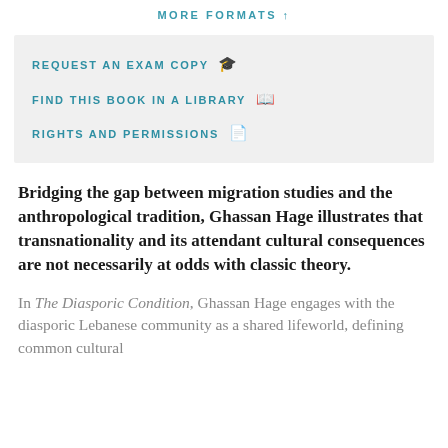MORE FORMATS ↑
REQUEST AN EXAM COPY 🎓
FIND THIS BOOK IN A LIBRARY 📖
RIGHTS AND PERMISSIONS 📄
Bridging the gap between migration studies and the anthropological tradition, Ghassan Hage illustrates that transnationality and its attendant cultural consequences are not necessarily at odds with classic theory.
In The Diasporic Condition, Ghassan Hage engages with the diasporic Lebanese community as a shared lifeworld, defining common cultural